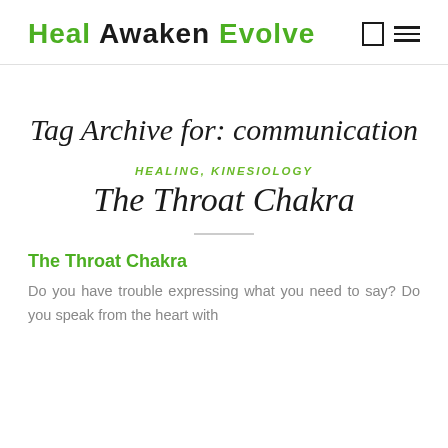Heal Awaken Evolve
Tag Archive for: communication
HEALING, KINESIOLOGY
The Throat Chakra
The Throat Chakra
Do you have trouble expressing what you need to say? Do you speak from the heart with